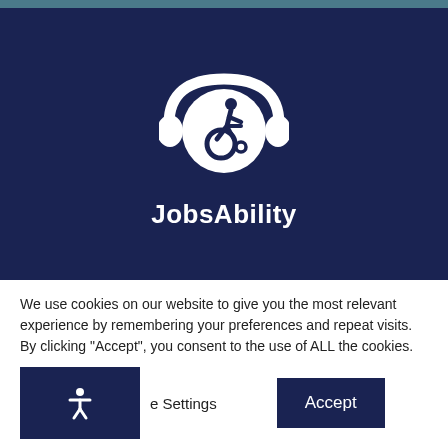[Figure (logo): JobsAbility logo: white wheelchair accessibility icon with headphone/arc elements on dark navy background, with brand name 'JobsAbility' below in white bold text]
We use cookies on our website to give you the most relevant experience by remembering your preferences and repeat visits. By clicking “Accept”, you consent to the use of ALL the cookies.
Cookie Settings   Accept